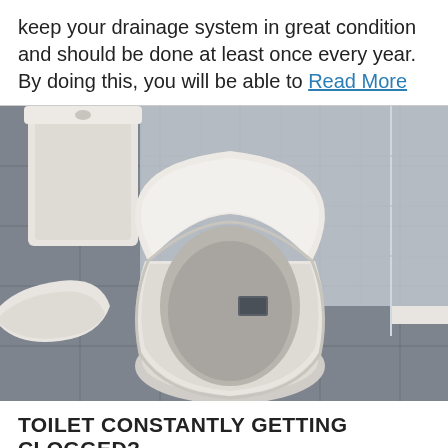keep your drainage system in great condition and should be done at least once every year. By doing this, you will be able to Read More
[Figure (photo): Photograph of a modern bathroom with an open white toilet with lid up, a tank behind it, a bidet partially visible on the left, and a glass shower enclosure with grey tiles in the background.]
TOILET CONSTANTLY GETTING CLOGGED?